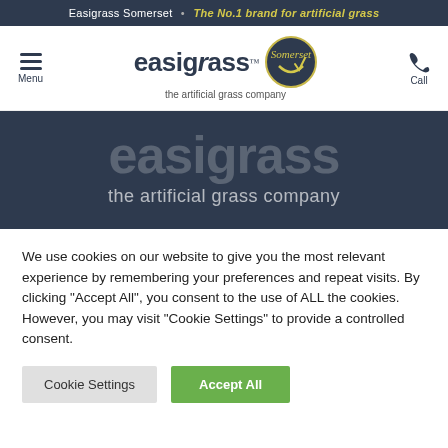Easigrass Somerset • The No.1 brand for artificial grass
[Figure (logo): Easigrass logo with hamburger menu, 'easigrass the artificial grass company' wordmark, Somerset circular badge, and Call phone icon]
[Figure (logo): Large 'easigrass the artificial grass company' text on dark navy background hero banner]
We use cookies on our website to give you the most relevant experience by remembering your preferences and repeat visits. By clicking "Accept All", you consent to the use of ALL the cookies. However, you may visit "Cookie Settings" to provide a controlled consent.
Cookie Settings
Accept All